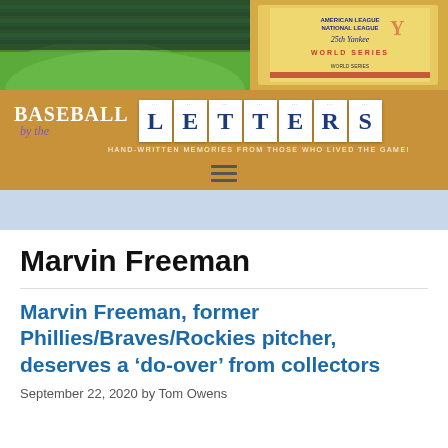[Figure (photo): Baseball stadium and vintage World Series ticket stub banner image]
BASEBALL by the LETTERS — HAND-WRITTEN MEMORIES FROM THOSE WHO LIVED THE GAME!
Marvin Freeman
Marvin Freeman, former Phillies/Braves/Rockies pitcher, deserves a ‘do-over’ from collectors
September 22, 2020 by Tom Owens